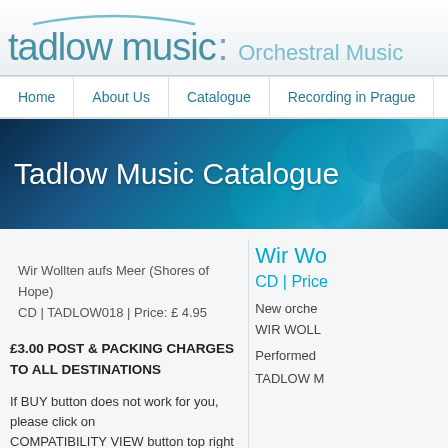[Figure (logo): Tadlow Music logo with arch graphic and tagline 'Orchestral Music']
Home | About Us | Catalogue | Recording in Prague | Recording
[Figure (photo): Banner image with dark blue bokeh background and white text 'Tadlow Music Catalogue']
Tadlow Music Catalogue
Wir Wollten aufs Meer (Shores of Hope)
CD | TADLOW018 | Price: £ 4.95
£3.00 POST & PACKING CHARGES TO ALL DESTINATIONS
If BUY button does not work for you, please click on COMPATIBILITY VIEW button top right on tool bar
Wir Wo
CD | Price
New orche
WIR WOLL
Performed
TADLOW M